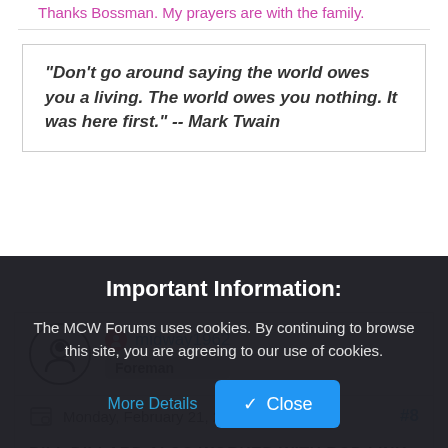Thanks Bossman. My prayers are with the family.
"Don't go around saying the world owes you a living. The world owes you nothing. It was here first." -- Mark Twain
midway1962
Foreman
Monday, February 21, 2005 1:13:00 PM
#8
BILL DILLARD ALSO WORKED WITH ROD LINK
Important Information:
The MCW Forums uses cookies. By continuing to browse this site, you are agreeing to our use of cookies.
More Details
Close